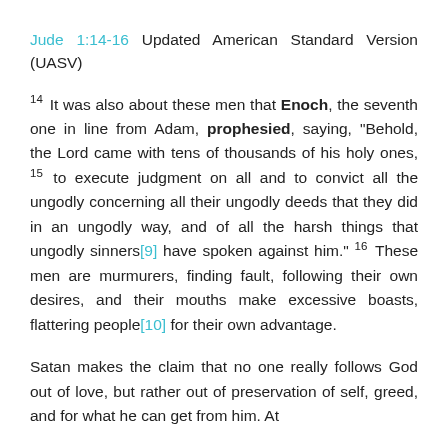Jude 1:14-16 Updated American Standard Version (UASV)
14 It was also about these men that Enoch, the seventh one in line from Adam, prophesied, saying, “Behold, the Lord came with tens of thousands of his holy ones, 15 to execute judgment on all and to convict all the ungodly concerning all their ungodly deeds that they did in an ungodly way, and of all the harsh things that ungodly sinners[9] have spoken against him.” 16 These men are murmurers, finding fault, following their own desires, and their mouths make excessive boasts, flattering people[10] for their own advantage.
Satan makes the claim that no one really follows God out of love, but rather out of preservation of self, greed, and for what he can get from him. At